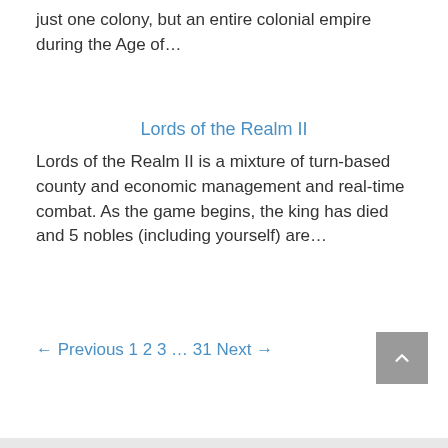just one colony, but an entire colonial empire during the Age of…
Lords of the Realm II
Lords of the Realm II is a mixture of turn-based county and economic management and real-time combat. As the game begins, the king has died and 5 nobles (including yourself) are…
← Previous 1 2 3 … 31 Next →